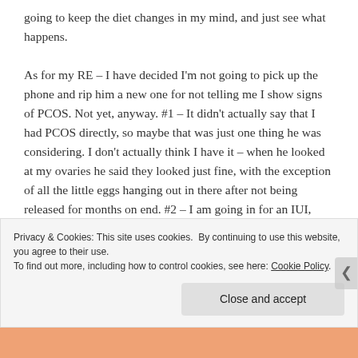going to keep the diet changes in my mind, and just see what happens.

As for my RE – I have decided I'm not going to pick up the phone and rip him a new one for not telling me I show signs of PCOS. Not yet, anyway. #1 – It didn't actually say that I had PCOS directly, so maybe that was just one thing he was considering. I don't actually think I have it – when he looked at my ovaries he said they looked just fine, with the exception of all the little eggs hanging out in there after not being released for months on end. #2 – I am going in for an IUI, hopefully soon. I can ask about it then. I'm so glad, now, that we've decided to go with the IUI. It is a little strange to
Privacy & Cookies: This site uses cookies. By continuing to use this website, you agree to their use.
To find out more, including how to control cookies, see here: Cookie Policy
Close and accept